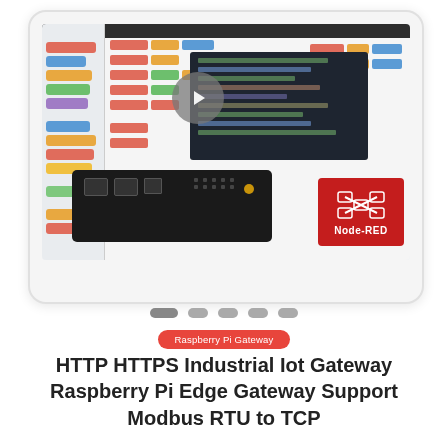[Figure (screenshot): Tablet frame showing Node-RED flow editor interface with colorful node blocks, a dark code editor overlay with a video play button, a black industrial IoT hardware device (Raspberry Pi gateway) in the foreground, and the Node-RED logo in red in the bottom right corner. Below the tablet are carousel navigation dots.]
Raspberry Pi Gateway
HTTP HTTPS Industrial Iot Gateway Raspberry Pi Edge Gateway Support Modbus RTU to TCP